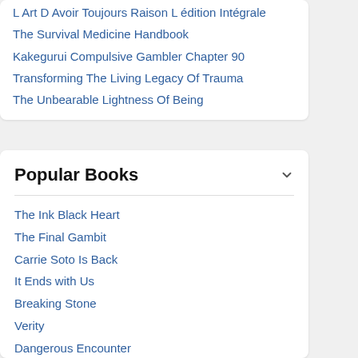L Art D Avoir Toujours Raison L édition Intégrale
The Survival Medicine Handbook
Kakegurui Compulsive Gambler Chapter 90
Transforming The Living Legacy Of Trauma
The Unbearable Lightness Of Being
Popular Books
The Ink Black Heart
The Final Gambit
Carrie Soto Is Back
It Ends with Us
Breaking Stone
Verity
Dangerous Encounter
Ugly Love
Fire and Blood